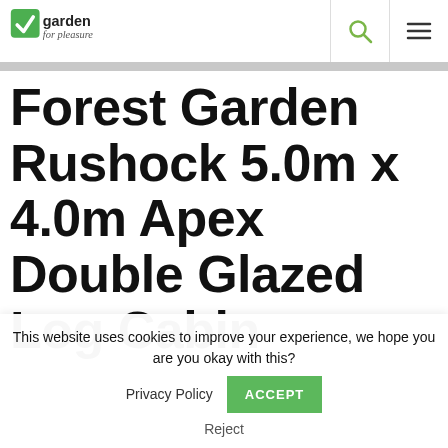garden for pleasure
Forest Garden Rushock 5.0m x 4.0m Apex Double Glazed Log Cabin
This website uses cookies to improve your experience, we hope you are you okay with this?  Privacy Policy  ACCEPT  Reject